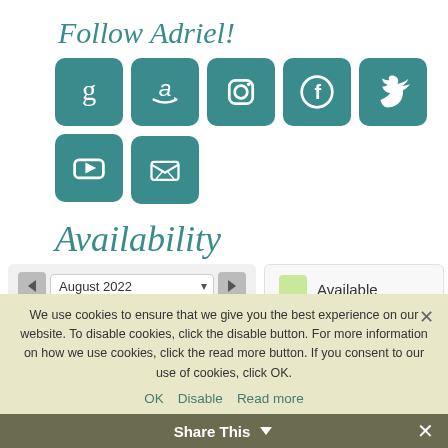Follow Adriel!
[Figure (infographic): Row of 7 teal rounded-square social media icon buttons: Goodreads (g), Amazon (a), Instagram, Facebook, Twitter, YouTube, and an email/newsletter icon]
Availability
[Figure (other): Availability calendar widget showing August 2022 with navigation arrows and a dropdown selector, day headers M T W T F S S, alongside a legend showing Available (light green) and Booked (light red/pink)]
We use cookies to ensure that we give you the best experience on our website. To disable cookies, click the disable button. For more information on how we use cookies, click the read more button. If you consent to our use of cookies, click OK.
OK   Disable   Read more
Share This